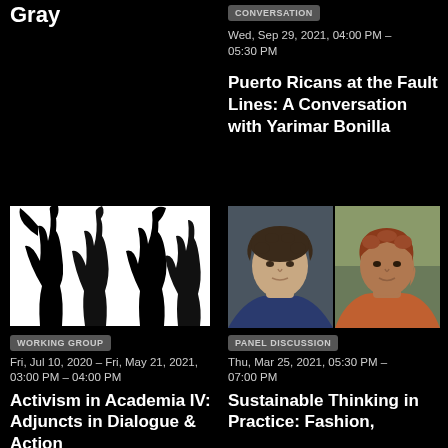Gray
CONVERSATION
Wed, Sep 29, 2021, 04:00 PM – 05:30 PM
Puerto Ricans at the Fault Lines: A Conversation with Yarimar Bonilla
[Figure (photo): Silhouette of people with raised fists against white background]
WORKING GROUP
Fri, Jul 10, 2020 – Fri, May 21, 2021, 03:00 PM – 04:00 PM
Activism in Academia IV: Adjuncts in Dialogue & Action
[Figure (photo): Two portrait photos side by side: a woman with curly dark hair and a woman with short reddish hair]
PANEL DISCUSSION
Thu, Mar 25, 2021, 05:30 PM – 07:00 PM
Sustainable Thinking in Practice: Fashion,